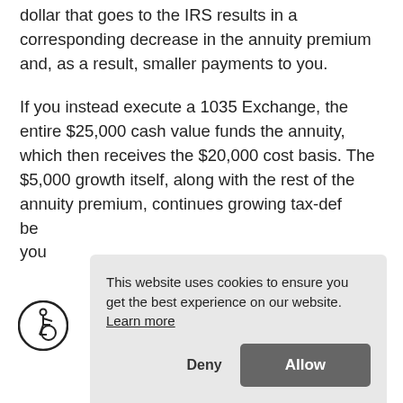dollar that goes to the IRS results in a corresponding decrease in the annuity premium and, as a result, smaller payments to you.
If you instead execute a 1035 Exchange, the entire $25,000 cash value funds the annuity, which then receives the $20,000 cost basis. The $5,000 growth itself, along with the rest of the annuity premium, continues growing tax-def[erred until you begin taking benefits, which means you]
[Figure (other): Cookie consent banner overlay with text 'This website uses cookies to ensure you get the best experience on our website. Learn more' and two buttons: Deny and Allow]
[Figure (other): Accessibility icon (wheelchair symbol in a circle)]